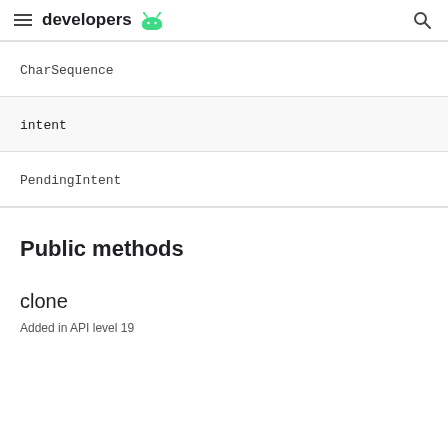developers
CharSequence
intent
PendingIntent
Public methods
clone
Added in API level 19